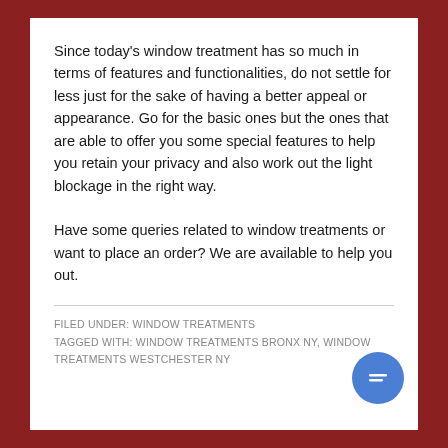Since today's window treatment has so much in terms of features and functionalities, do not settle for less just for the sake of having a better appeal or appearance. Go for the basic ones but the ones that are able to offer you some special features to help you retain your privacy and also work out the light blockage in the right way.
Have some queries related to window treatments or want to place an order? We are available to help you out.
FILED UNDER: WINDOW TREATMENTS
TAGGED WITH: WINDOW TREATMENTS BRONX NY, WINDOW TREATMENTS WESTCHESTER NY